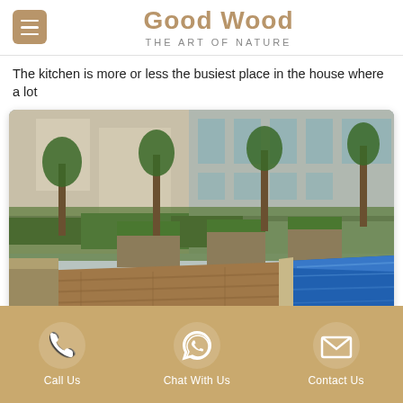Good Wood — THE ART OF NATURE
The kitchen is more or less the busiest place in the house where a lot
[Figure (photo): Outdoor wooden deck area beside a swimming pool with green planters and trees, adjacent to a modern building]
Call Us | Chat With Us | Contact Us